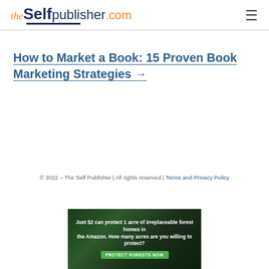the Self publisher.com
How to Market a Book: 15 Proven Book Marketing Strategies →
© 2022 – The Self Publisher | All rights reserved | Terms and Privacy Policy
[Figure (photo): Advertisement banner with dark forest background. Text reads: Just $2 can protect 1 acre of irreplaceable forest homes in the Amazon. How many acres are you willing to protect? PROTECT FORESTS NOW]